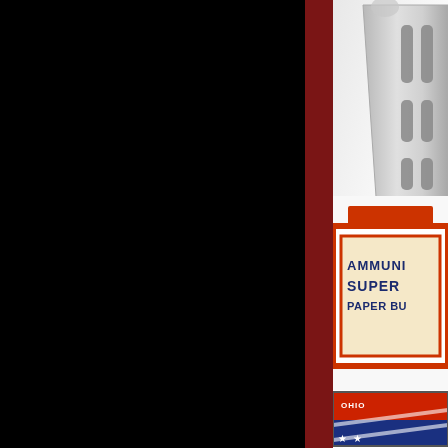[Figure (photo): Left portion of page is black. A dark red vertical bar separates the black area from the right side. Top right: photo of a metallic slotted/grater object on white background. Middle right: partial view of a vintage ammunition box with orange-red border, cream background, dark blue text reading 'AMMUNI... SUPER... PAPER BU...' Bottom right: partial view of a patriotic box with red, white and blue colors with stars.]